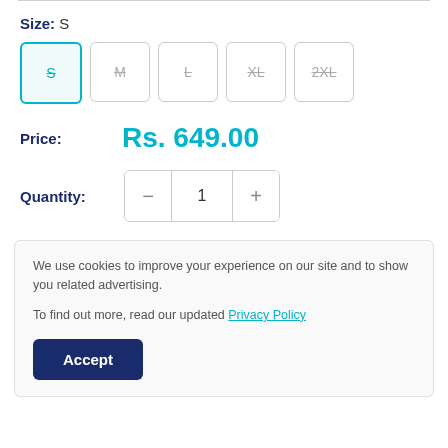Size: S
[Figure (other): Size selector buttons: S (selected, teal border), M, L, XL, 2XL (all greyed out with strikethrough)]
Price: Rs. 649.00
Quantity: 1
We use cookies to improve your experience on our site and to show you related advertising.

To find out more, read our updated Privacy Policy
Accept